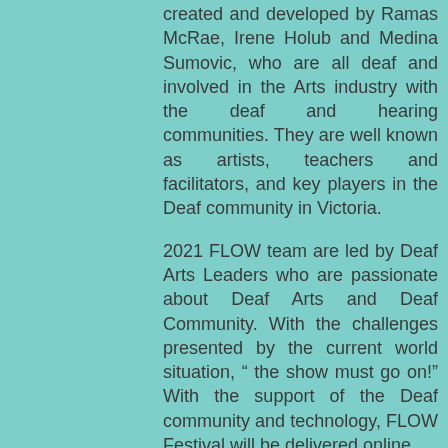created and developed by Ramas McRae, Irene Holub and Medina Sumovic, who are all deaf and involved in the Arts industry with the deaf and hearing communities. They are well known as artists, teachers and facilitators, and key players in the Deaf community in Victoria.
2021 FLOW team are led by Deaf Arts Leaders who are passionate about Deaf Arts and Deaf Community. With the challenges presented by the current world situation, “ the show must go on!” With the support of the Deaf community and technology, FLOW Festival will be delivered online.
2021 FLOW team are led by Ramas McRae (Director) and Irene Holub ( Producer) with their amazingly talented team - Joanna Aguis OAM ( Deaf Aboriginal Arts Coordinator), Sam Martin ( Queer Arts Coordinator/